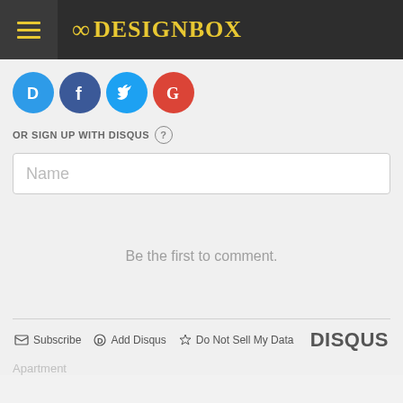8DESIGNBOX
[Figure (logo): Social login icons: Disqus (D, blue), Facebook (f, dark blue), Twitter (bird, light blue), Google (G, red)]
OR SIGN UP WITH DISQUS ?
Name
Be the first to comment.
Subscribe   Add Disqus   Do Not Sell My Data   DISQUS
Apartment